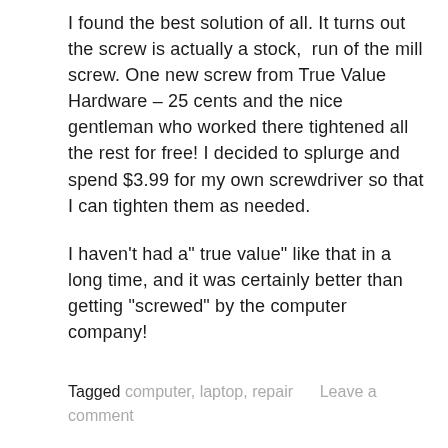I found the best solution of all. It turns out the screw is actually a stock, run of the mill screw. One new screw from True Value Hardware – 25 cents and the nice gentleman who worked there tightened all the rest for free! I decided to splurge and spend $3.99 for my own screwdriver so that I can tighten them as needed.
I haven't had a" true value" like that in a long time, and it was certainly better than getting "screwed" by the computer company!
Tagged computer, laptop, repair   Leave a comment